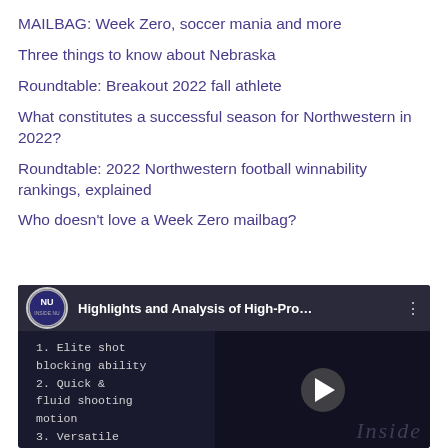MAILBAG: Week Zero, soccer mania and more
Three things to know about Nebraska
Roundtable: Breakout 2022 fall athlete
What constitutes a successful season for Northwestern in 2022?
Roundtable: 2022 Northwestern football winnability rankings, explained
Who doesn't love a Week Zero mailbag?
[Figure (screenshot): YouTube video thumbnail showing 'Highlights and Analysis of High-Pro...' with NU Nation logo, overlaid text listing: 1. Elite shot blocking ability 2. Quick & fluid shooting motion 3. Versatile shot creation, with a play button and 'Inside' watermark on a dark background.]